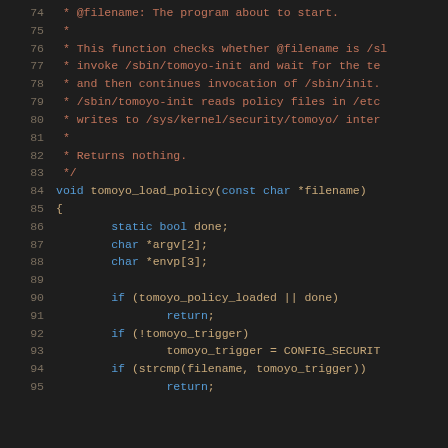[Figure (screenshot): Source code listing showing C function tomoyo_load_policy with line numbers 74-95, dark background IDE theme. Comment block in red/orange, code keywords in blue, identifiers in light blue/white.]